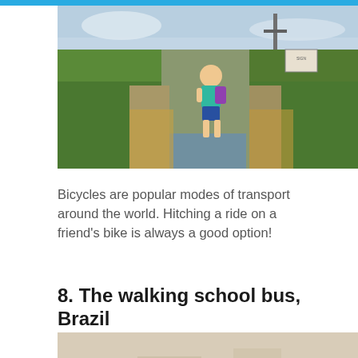[Figure (photo): A child wearing a teal shirt and purple backpack running along a narrow path between irrigation channels with green grass on both sides, utility poles in the background, overcast sky.]
Bicycles are popular modes of transport around the world. Hitching a ride on a friend’s bike is always a good option!
8. The walking school bus, Brazil
[Figure (photo): Exterior of a white building with two dark rectangular windows visible at the bottom of the frame.]